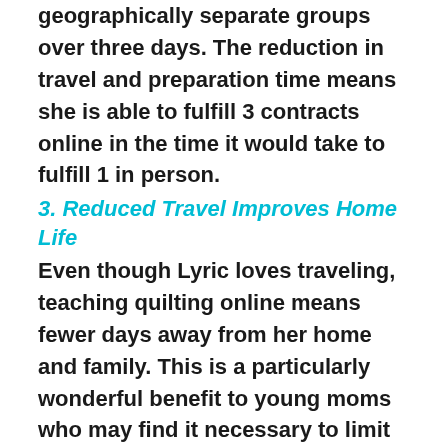geographically separate groups over three days. The reduction in travel and preparation time means she is able to fulfill 3 contracts online in the time it would take to fulfill 1 in person.
3. Reduced Travel Improves Home Life
Even though Lyric loves traveling, teaching quilting online means fewer days away from her home and family. This is a particularly wonderful benefit to young moms who may find it necessary to limit travel like Lyric did in the early days. For teachers who love traveling, the increase in efficiency may boost their income enough to allow their travel to be